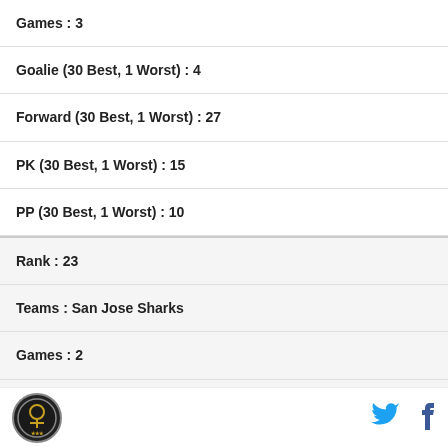Games : 3
Goalie (30 Best, 1 Worst) : 4
Forward (30 Best, 1 Worst) : 27
PK (30 Best, 1 Worst) : 15
PP (30 Best, 1 Worst) : 10
Rank : 23
Teams : San Jose Sharks
Games : 2
Goalie (30 Best, 1 Worst) : 17
Forward (30 Best, 1 Worst) : 15
PK (30 Best, 1 Worst) : 19
Logo | Twitter | Facebook